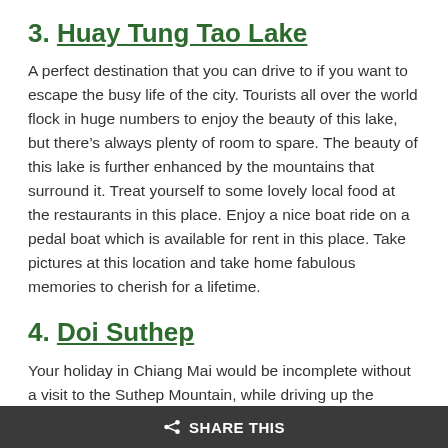3. Huay Tung Tao Lake
A perfect destination that you can drive to if you want to escape the busy life of the city. Tourists all over the world flock in huge numbers to enjoy the beauty of this lake, but there's always plenty of room to spare. The beauty of this lake is further enhanced by the mountains that surround it. Treat yourself to some lovely local food at the restaurants in this place. Enjoy a nice boat ride on a pedal boat which is available for rent in this place. Take pictures at this location and take home fabulous memories to cherish for a lifetime.
4. Doi Suthep
Your holiday in Chiang Mai would be incomplete without a visit to the Suthep Mountain, while driving up the mountain you can feast your eyes on the beautiful waterfalls. You may also visit the mountain top at night and get a beautiful view of the city at night.
SHARE THIS